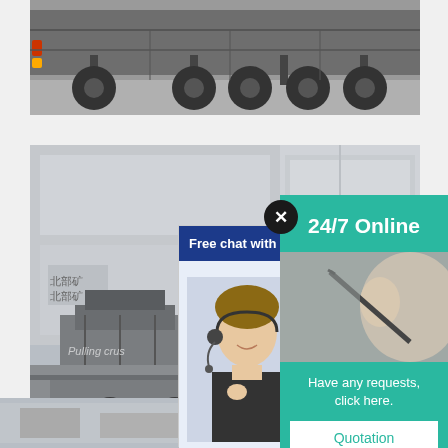[Figure (photo): Underside/rear view of a large semi-truck with multiple axles and tires, industrial setting]
[Figure (photo): Industrial warehouse scene with large machinery and a flatbed semi-truck loaded with equipment, showing text overlay 'Pulling crus']
[Figure (screenshot): Live chat popup widget with blue header 'Free chat with us online', an agent photo, and a 'CHAT NOW' button]
[Figure (infographic): Teal sidebar with '24/7 Online' text, photo of person on phone, 'Have any requests, click here.' text, Quotation button, and price@indh.net email]